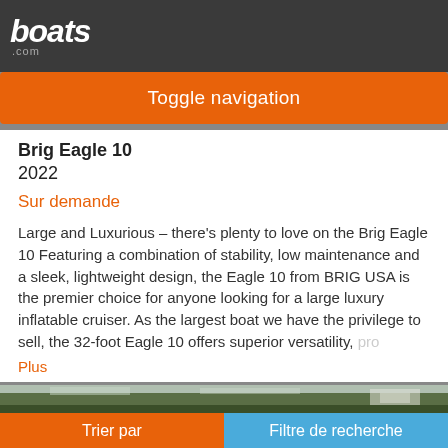boats.com
Toggle navigation
Brig Eagle 10
2022
Sur demande
Large and Luxurious – there's plenty to love on the Brig Eagle 10 Featuring a combination of stability, low maintenance and a sleek, lightweight design, the Eagle 10 from BRIG USA is the premier choice for anyone looking for a large luxury inflatable cruiser. As the largest boat we have the privilege to sell, the 32-foot Eagle 10 offers superior versatility, pro
Plus
[Figure (photo): Partial photo strip showing trees and landscape in the background]
Trier par | Filtre de recherche